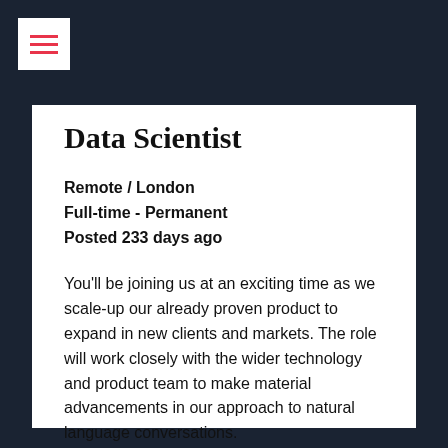≡
Data Scientist
Remote / London
Full-time - Permanent
Posted 233 days ago
You'll be joining us at an exciting time as we scale-up our already proven product to expand in new clients and markets. The role will work closely with the wider technology and product team to make material advancements in our approach to natural language conversations.
Find out more